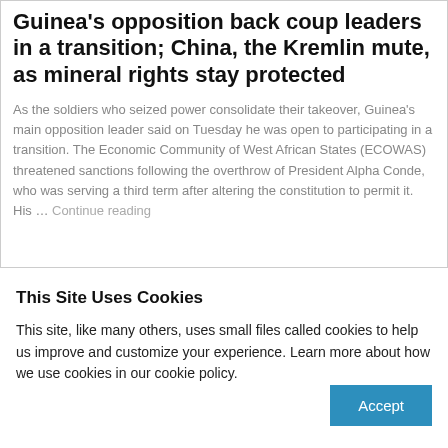Guinea's opposition back coup leaders in a transition; China, the Kremlin mute, as mineral rights stay protected
As the soldiers who seized power consolidate their takeover, Guinea's main opposition leader said on Tuesday he was open to participating in a transition. The Economic Community of West African States (ECOWAS) threatened sanctions following the overthrow of President Alpha Conde, who was serving a third term after altering the constitution to permit it. His … Continue reading
This Site Uses Cookies
This site, like many others, uses small files called cookies to help us improve and customize your experience. Learn more about how we use cookies in our cookie policy.